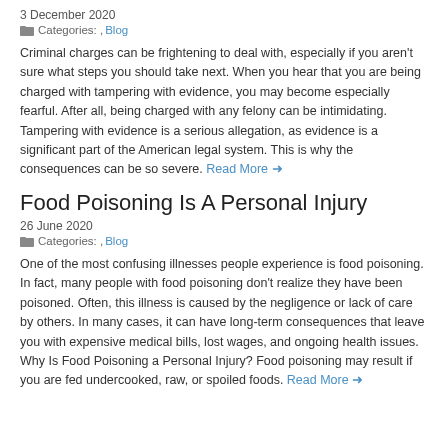3 December 2020
Categories: , Blog
Criminal charges can be frightening to deal with, especially if you aren't sure what steps you should take next. When you hear that you are being charged with tampering with evidence, you may become especially fearful. After all, being charged with any felony can be intimidating. Tampering with evidence is a serious allegation, as evidence is a significant part of the American legal system. This is why the consequences can be so severe. Read More →
Food Poisoning Is A Personal Injury
26 June 2020
Categories: , Blog
One of the most confusing illnesses people experience is food poisoning. In fact, many people with food poisoning don't realize they have been poisoned. Often, this illness is caused by the negligence or lack of care by others. In many cases, it can have long-term consequences that leave you with expensive medical bills, lost wages, and ongoing health issues. Why Is Food Poisoning a Personal Injury? Food poisoning may result if you are fed undercooked, raw, or spoiled foods. Read More →